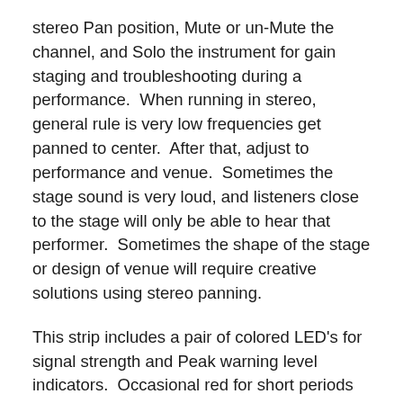stereo Pan position, Mute or un-Mute the channel, and Solo the instrument for gain staging and troubleshooting during a performance.  When running in stereo, general rule is very low frequencies get panned to center.  After that, adjust to performance and venue.  Sometimes the stage sound is very loud, and listeners close to the stage will only be able to hear that performer.  Sometimes the shape of the stage or design of venue will require creative solutions using stereo panning.
This strip includes a pair of colored LED's for signal strength and Peak warning level indicators.  Occasional red for short periods of time are OK, but better to avoid as long as you have a strong signal otherwise.  After we have set the various knobs correctly and have good signal strength, we can use the channel volume fader to set the level of the instrument in the mix.  Channel...